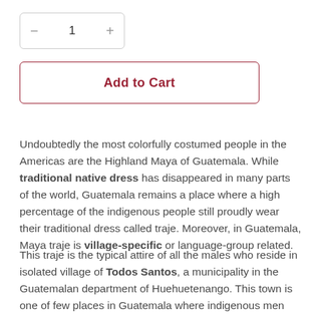[Figure (other): Quantity selector widget with minus button, number 1, and plus button in a rounded rectangle border]
[Figure (other): Add to Cart button with dark red border and text on white background]
Undoubtedly the most colorfully costumed people in the Americas are the Highland Maya of Guatemala. While traditional native dress has disappeared in many parts of the world, Guatemala remains a place where a high percentage of the indigenous people still proudly wear their traditional dress called traje. Moreover, in Guatemala, Maya traje is village-specific or language-group related.
This traje is the typical attire of all the males who reside in isolated village of Todos Santos, a municipality in the Guatemalan department of Huehuetenango. This town is one of few places in Guatemala where indigenous men and women still wear their